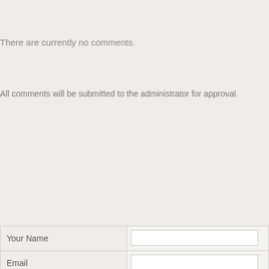There are currently no comments.
All comments will be submitted to the administrator for approval.
| Field | Input |
| --- | --- |
| Your Name |  |
| Email |  |
| Comments |  |
|  | L15 [captcha image] | [captcha input] | To prevent spam, please type in the code found in the box to verify you are a real person. | ADD COMMENT |
|  | Re |